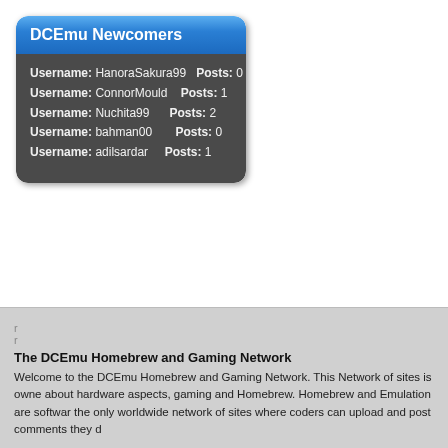DCEmu Newcomers
Username: HanoraSakura99   Posts: 0
Username: ConnorMould   Posts: 1
Username: Nuchita99   Posts: 2
Username: bahman00   Posts: 0
Username: adilsardar   Posts: 1
The DCEmu Homebrew and Gaming Network
Welcome to the DCEmu Homebrew and Gaming Network. This Network of sites is owned about hardware aspects, gaming and Homebrew. Homebrew and Emulation are softwar the only worldwide network of sites where coders can upload and post comments they d